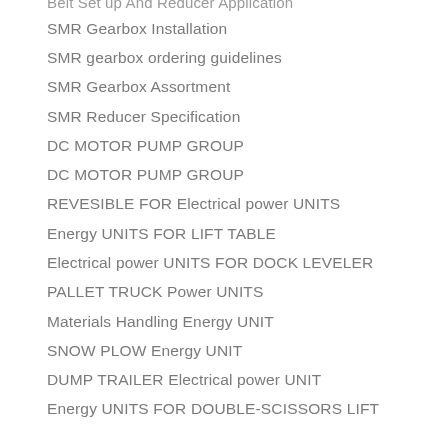Belt Set up And Reducer Application
SMR Gearbox Installation
SMR gearbox ordering guidelines
SMR Gearbox Assortment
SMR Reducer Specification
DC MOTOR PUMP GROUP
DC MOTOR PUMP GROUP
REVESIBLE FOR Electrical power UNITS
Energy UNITS FOR LIFT TABLE
Electrical power UNITS FOR DOCK LEVELER
PALLET TRUCK Power UNITS
Materials Handling Energy UNIT
SNOW PLOW Energy UNIT
DUMP TRAILER Electrical power UNIT
Energy UNITS FOR DOUBLE-SCISSORS LIFT